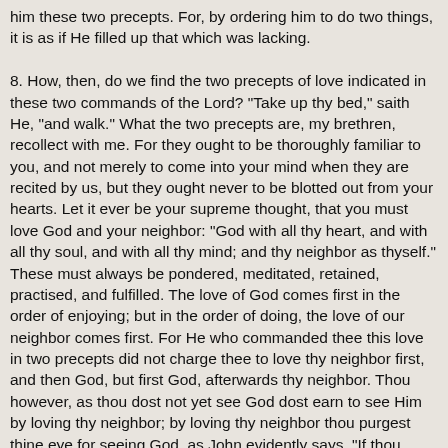him these two precepts. For, by ordering him to do two things, it is as if He filled up that which was lacking.

8. How, then, do we find the two precepts of love indicated in these two commands of the Lord? "Take up thy bed," saith He, "and walk." What the two precepts are, my brethren, recollect with me. For they ought to be thoroughly familiar to you, and not merely to come into your mind when they are recited by us, but they ought never to be blotted out from your hearts. Let it ever be your supreme thought, that you must love God and your neighbor: "God with all thy heart, and with all thy soul, and with all thy mind; and thy neighbor as thyself." These must always be pondered, meditated, retained, practised, and fulfilled. The love of God comes first in the order of enjoying; but in the order of doing, the love of our neighbor comes first. For He who commanded thee this love in two precepts did not charge thee to love thy neighbor first, and then God, but first God, afterwards thy neighbor. Thou however, as thou dost not yet see God dost earn to see Him by loving thy neighbor; by loving thy neighbor thou purgest thine eye for seeing God, as John evidently says, "If thou lovest not thy brother whom thou seest, how canst thou love God, whom thou dost not see?" [366] See, thou art told, "Love God." If thou say to me, "Show me Him, that I may love Him;" what shall I answer, but what the same John saith: "No man hath seen God at any time"? And, that you may not suppose yourself to be wholly estranged from seeing God, he saith, "God is love; and he that dwelleth in love dwelleth in God." [367] Therefore love thy neighbor; look at the source of thy love of thy neighbor; there thou wilt see, as thou mayest, God. Begin, then, to love thy neighbor. "Break thy bread to the hungry, and bring into thy house him that is needy without shelter; if thou seest the